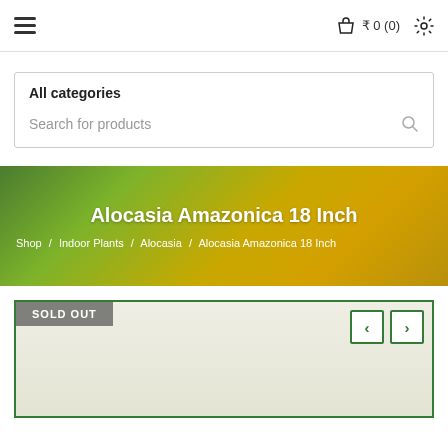≡   ₹ 0 (0)  ⚙
All categories
Search for products
Alocasia Amazonica 18 Inch
Shop / Indoor Plants / Alocasia / Alocasia Amazonica 18 Inch
[Figure (photo): Product photo area with SOLD OUT badge and left/right navigation arrows. Green bordered image container.]